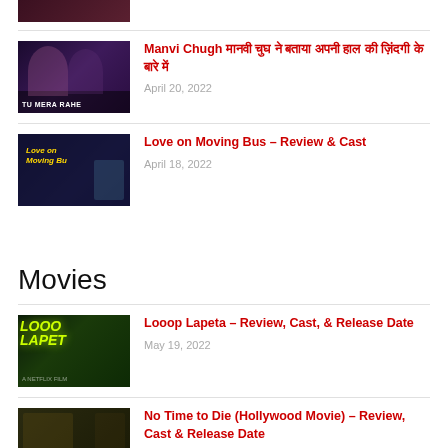[Figure (photo): Partial thumbnail of a movie/show image at top]
Manvi Chugh मानवी चुघ ने बताया अपनी हाल की ज़िंदगी के बारे में | April 20, 2022
[Figure (photo): Tu Mera Rahe movie thumbnail showing couple]
Love on Moving Bus – Review & Cast | April 18, 2022
[Figure (photo): Love on Moving Bus movie thumbnail]
Movies
Looop Lapeta – Review, Cast, & Release Date | May 19, 2022
[Figure (photo): Looop Lapeta movie poster thumbnail]
No Time to Die (Hollywood Movie) – Review, Cast & Release Date